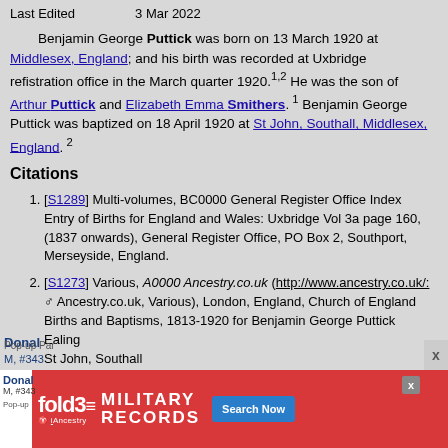Last Edited    3 Mar 2022
Benjamin George Puttick was born on 13 March 1920 at Middlesex, England; and his birth was recorded at Uxbridge refistration office in the March quarter 1920.1,2 He was the son of Arthur Puttick and Elizabeth Emma Smithers.1 Benjamin George Puttick was baptized on 18 April 1920 at St John, Southall, Middlesex, England.2
Citations
[S1289] Multi-volumes, BC0000 General Register Office Index Entry of Births for England and Wales: Uxbridge Vol 3a page 160, (1837 onwards), General Register Office, PO Box 2, Southport, Merseyside, England.
[S1273] Various, A0000 Ancestry.co.uk (http://www.ancestry.co.uk/: Ancestry.co.uk, Various), London, England, Church of England Births and Baptisms, 1813-1920 for Benjamin George Puttick
Ealing
St John, Southall
1919-1920.
[Figure (infographic): Advertisement banner for fold3 Military Records by Ancestry, with a Search Now button and a close button.]